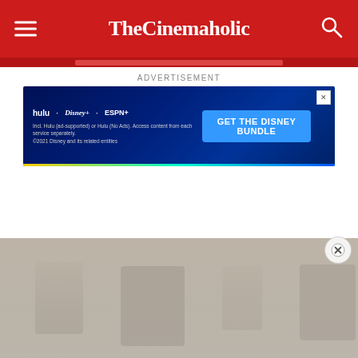TheCinemaholic
ADVERTISEMENT
[Figure (screenshot): Disney Bundle advertisement banner showing Hulu, Disney+, and ESPN+ logos on a dark blue background with 'GET THE DISNEY BUNDLE' call-to-action button. Fine print reads: Incl. Hulu (ad-supported) or Hulu (No Ads). Access content from each service separately. ©2021 Disney and its related entities]
[Figure (photo): Partial view of a scene with people in a room, image mostly obscured by white overlay]